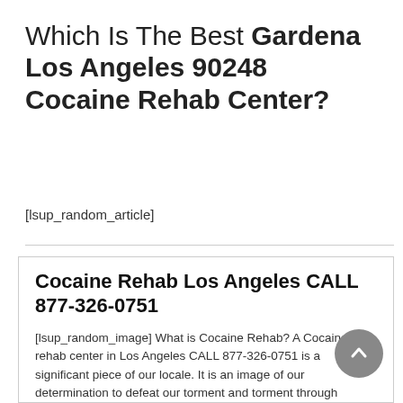Which Is The Best Gardena Los Angeles 90248 Cocaine Rehab Center?
[lsup_random_article]
Cocaine Rehab Los Angeles CALL 877-326-0751
[lsup_random_image] What is Cocaine Rehab? A Cocaine rehab center in Los Angeles CALL 877-326-0751 is a significant piece of our locale. It is an image of our determination to defeat our torment and torment through difficult work and diligence. This torment and torment is regularly a consequence of drug abuse, which frequently drives us into... Continue reading